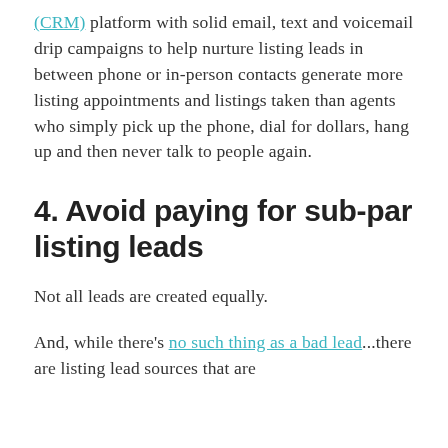(CRM) platform with solid email, text and voicemail drip campaigns to help nurture listing leads in between phone or in-person contacts generate more listing appointments and listings taken than agents who simply pick up the phone, dial for dollars, hang up and then never talk to people again.
4. Avoid paying for sub-par listing leads
Not all leads are created equally.
And, while there's no such thing as a bad lead...there are listing lead sources that are